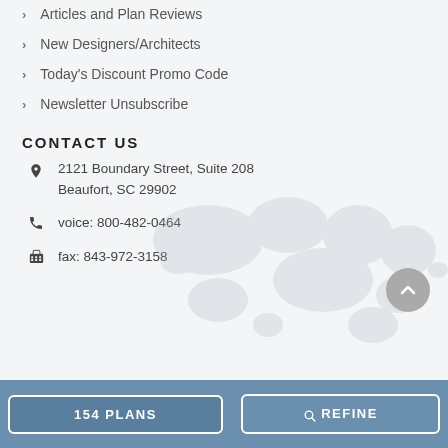Articles and Plan Reviews
New Designers/Architects
Today's Discount Promo Code
Newsletter Unsubscribe
CONTACT US
2121 Boundary Street, Suite 208
Beaufort, SC 29902
voice: 800-482-0464
fax: 843-972-3158
154 PLANS
🔍 REFINE